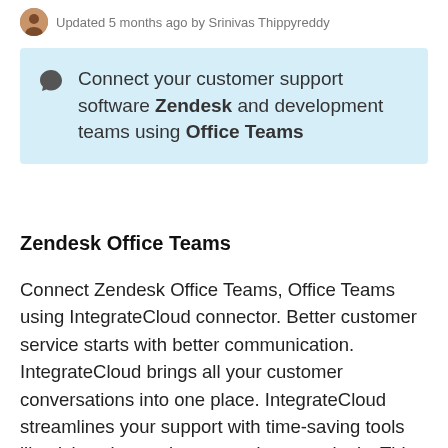Updated 5 months ago by Srinivas Thippyreddy
Connect your customer support software Zendesk and development teams using Office Teams
Zendesk Office Teams
Connect Zendesk Office Teams, Office Teams using IntegrateCloud connector. Better customer service starts with better communication. IntegrateCloud brings all your customer conversations into one place. IntegrateCloud streamlines your support with time-saving tools like ticket views, triggers, and automation's. This helps you get straight to what matters most — better customer service and more meaningful conversations. Use Zendesk Office Team